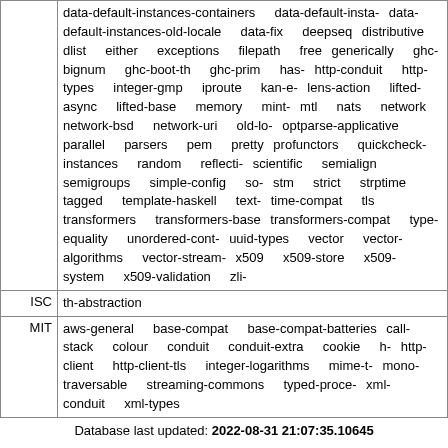| License | Packages |
| --- | --- |
|  | data-default-instances-containers  data-default-insta- data-default-instances-old-locale  data-fix  deepseq distributive  dlist  either  exceptions  filepath  free generically  ghc-bignum  ghc-boot-th  ghc-prim  has- http-conduit  http-types  integer-gmp  iproute  kan-e- lens-action  lifted-async  lifted-base  memory  mint- mtl  nats  network  network-bsd  network-uri  old-lo- optparse-applicative  parallel  parsers  pem  pretty profunctors  quickcheck-instances  random  reflecti- scientific  semialign  semigroups  simple-config  so- stm  strict  strptime  tagged  template-haskell  text- time-compat  tls  transformers  transformers-base transformers-compat  type-equality  unordered-cont- uuid-types  vector  vector-algorithms  vector-stream- x509  x509-store  x509-system  x509-validation  zli- |
| ISC | th-abstraction |
| MIT | aws-general  base-compat  base-compat-batteries call-stack  colour  conduit  conduit-extra  cookie  h- http-client  http-client-tls  integer-logarithms  mime-t- mono-traversable  streaming-commons  typed-proce- xml-conduit  xml-types |
Database last updated: 2022-08-31 21:07:35.10645